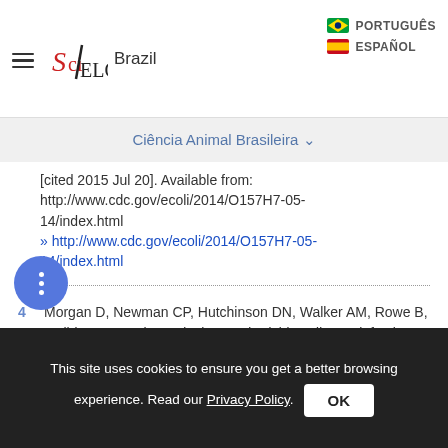SciELO Brazil | PORTUGUÊS | ESPAÑOL
Ciência Animal Brasileira
[cited 2015 Jul 20]. Available from: http://www.cdc.gov/ecoli/2014/O157H7-05-14/index.html
» http://www.cdc.gov/ecoli/2014/O157H7-05-14/index.html
4  Morgan D, Newman CP, Hutchinson DN, Walker AM, Rowe B, Majid F. Verotoxin producing Escherichia coliO157 infections associated with the consumption of yoghurt. Epidemiology and Infection. 1993; 111:181-187.
This site uses cookies to ensure you get a better browsing experience. Read our Privacy Policy.